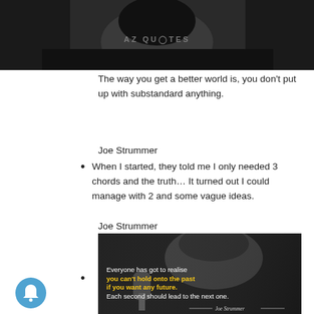[Figure (photo): Top portion of a black and white photo of Joe Strummer with AZ QUOTES watermark overlay in gray text]
The way you get a better world is, you don't put up with substandard anything.
Joe Strummer
When I started, they told me I only needed 3 chords and the truth… It turned out I could manage with 2 and some vague ideas.
Joe Strummer
[Figure (photo): Black and white photo of Joe Strummer singing into a microphone with quote overlay: "Everyone has got to realise you can't hold onto the past if you want any future. Each second should lead to the next one." — Joe Strummer. The words 'you can't hold onto the past if you want any future.' are highlighted in yellow/bold.]